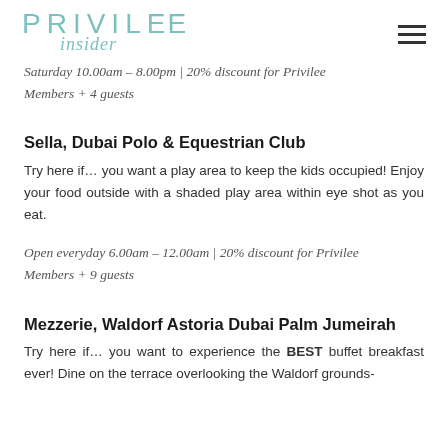PRIVILEE insider
Saturday 10.00am – 8.00pm | 20% discount for Privilee Members + 4 guests
Sella, Dubai Polo & Equestrian Club
Try here if... you want a play area to keep the kids occupied! Enjoy your food outside with a shaded play area within eye shot as you eat.
Open everyday 6.00am – 12.00am | 20% discount for Privilee Members + 9 guests
Mezzerie, Waldorf Astoria Dubai Palm Jumeirah
Try here if... you want to experience the BEST buffet breakfast ever! Dine on the terrace overlooking the Waldorf grounds-